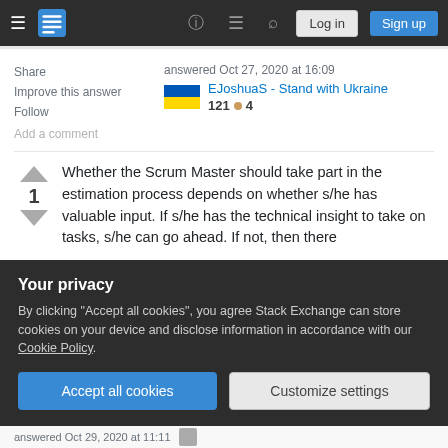Stack Exchange navigation bar with Log in and Sign up buttons
Share   Improve this answer   Follow
answered Oct 27, 2020 at 16:09
EJoshuaS - Stand with Ukraine
121 ● 4
Add a comment
Whether the Scrum Master should take part in the estimation process depends on whether s/he has valuable input. If s/he has the technical insight to take on tasks, s/he can go ahead. If not, then there
Your privacy
By clicking "Accept all cookies", you agree Stack Exchange can store cookies on your device and disclose information in accordance with our Cookie Policy.
Accept all cookies   Customize settings
answered Oct 29, 2020 at 11:11